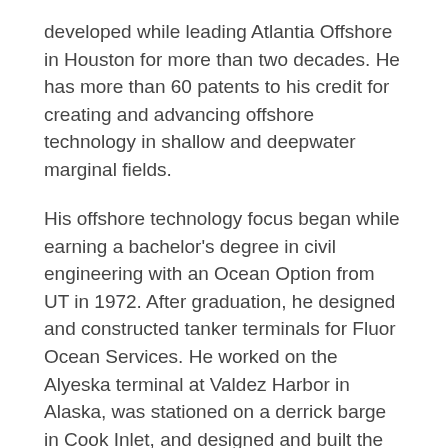developed while leading Atlantia Offshore in Houston for more than two decades. He has more than 60 patents to his credit for creating and advancing offshore technology in shallow and deepwater marginal fields.
His offshore technology focus began while earning a bachelor's degree in civil engineering with an Ocean Option from UT in 1972. After graduation, he designed and constructed tanker terminals for Fluor Ocean Services. He worked on the Alyeska terminal at Valdez Harbor in Alaska, was stationed on a derrick barge in Cook Inlet, and designed and built the Bonaire terminal in South America. He also expanded the Ras Tannurrah terminal, later destroyed in the Gulf War.